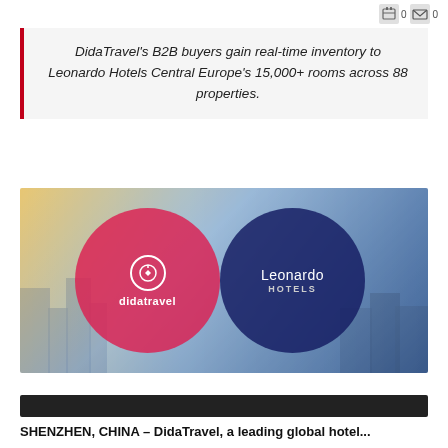DidaTravel's B2B buyers gain real-time inventory to Leonardo Hotels Central Europe's 15,000+ rooms across 88 properties.
[Figure (illustration): Partnership graphic showing two overlapping circles: left pink/red circle with DidaTravel logo and name, right dark navy circle with Leonardo Hotels name and subtitle, set against an aerial city skyline background.]
SHENZHEN, CHINA – DidaTravel, a leading global hotel...